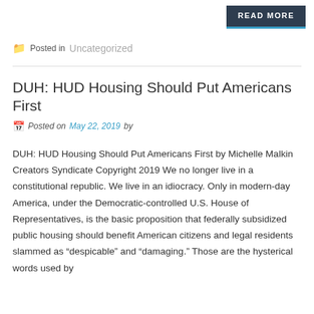READ MORE
Posted in Uncategorized
DUH: HUD Housing Should Put Americans First
Posted on May 22, 2019 by
DUH: HUD Housing Should Put Americans First by Michelle Malkin Creators Syndicate Copyright 2019 We no longer live in a constitutional republic. We live in an idiocracy. Only in modern-day America, under the Democratic-controlled U.S. House of Representatives, is the basic proposition that federally subsidized public housing should benefit American citizens and legal residents slammed as “despicable” and “damaging.” Those are the hysterical words used by